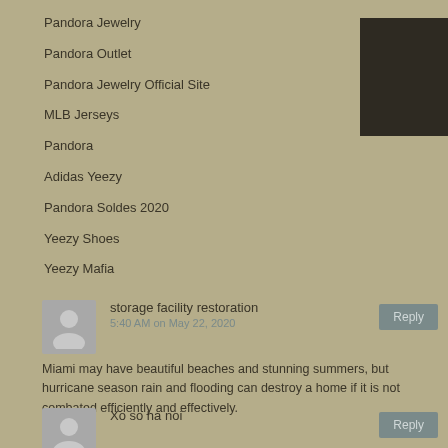Pandora Jewelry
Pandora Outlet
Pandora Jewelry Official Site
MLB Jerseys
Pandora
Adidas Yeezy
Pandora Soldes 2020
Yeezy Shoes
Yeezy Mafia
[Figure (illustration): Dark brown/black square box in upper right corner]
storage facility restoration
5:40 AM on May 22, 2020
Miami may have beautiful beaches and stunning summers, but hurricane season rain and flooding can destroy a home if it is not combated efficiently and effectively.
Xo so ha noi